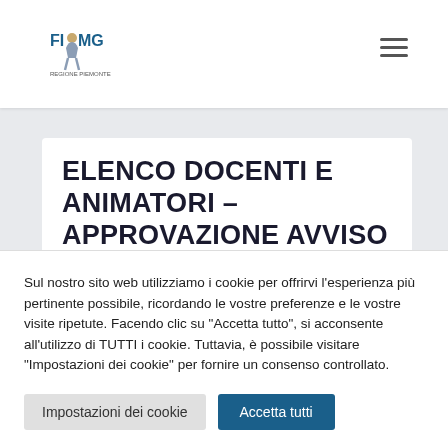[Figure (logo): FIMMG Regione Piemonte logo with stylized figure]
ELENCO DOCENTI E ANIMATORI – APPROVAZIONE AVVISO
Sul nostro sito web utilizziamo i cookie per offrirvi l'esperienza più pertinente possibile, ricordando le vostre preferenze e le vostre visite ripetute. Facendo clic su "Accetta tutto", si acconsente all'utilizzo di TUTTI i cookie. Tuttavia, è possibile visitare "Impostazioni dei cookie" per fornire un consenso controllato.
Impostazioni dei cookie
Accetta tutti